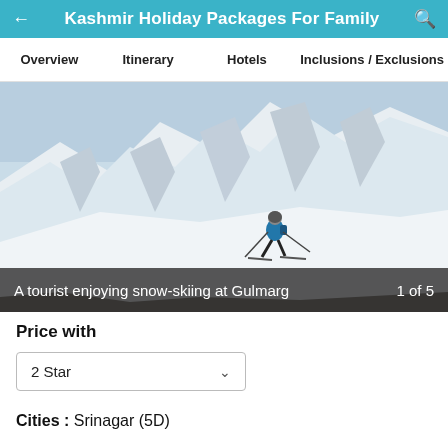Kashmir Holiday Packages For Family
Overview   Itinerary   Hotels   Inclusions / Exclusions
[Figure (photo): A tourist skiing down a snow-covered mountain slope at Gulmarg, wearing a blue jacket and dark pants, with dramatic snow-ridged mountain in background.]
A tourist enjoying snow-skiing at Gulmarg   1 of 5
Price with
2 Star
Cities : Srinagar (5D)